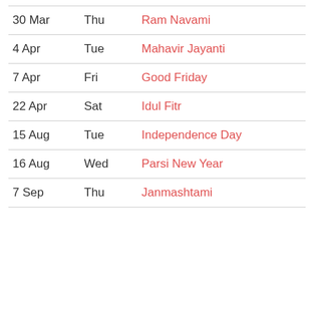| Date | Day | Holiday |
| --- | --- | --- |
| 30 Mar | Thu | Ram Navami |
| 4 Apr | Tue | Mahavir Jayanti |
| 7 Apr | Fri | Good Friday |
| 22 Apr | Sat | Idul Fitr |
| 15 Aug | Tue | Independence Day |
| 16 Aug | Wed | Parsi New Year |
| 7 Sep | Thu | Janmashtami |